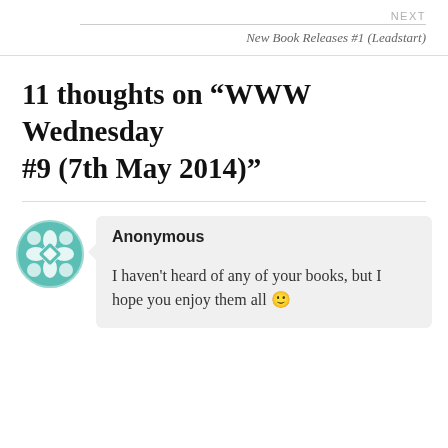NEXT
New Book Releases #1 (Leadstart)
11 thoughts on “WWW Wednesday #9 (7th May 2014)”
Anonymous
I haven't heard of any of your books, but I hope you enjoy them all 🙂